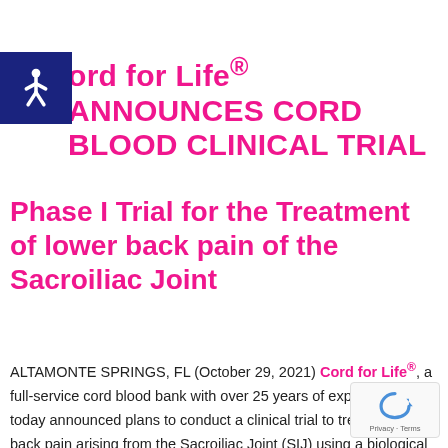Cord for Life® ANNOUNCES CORD BLOOD CLINICAL TRIAL
Phase I Trial for the Treatment of lower back pain of the Sacroiliac Joint
ALTAMONTE SPRINGS, FL (October 29, 2021) Cord for Life®, a full-service cord blood bank with over 25 years of experience, today announced plans to conduct a clinical trial to treat lower back pain arising from the Sacroiliac Joint (SIJ) using a biological therapeutic derived from umbilical blood.
[Figure (logo): reCAPTCHA privacy badge with circular arrow logo, Privacy · Terms text]